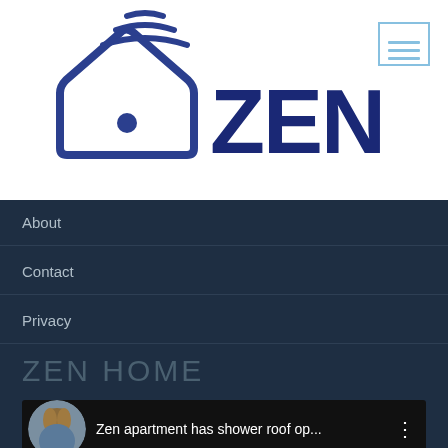[Figure (logo): ZEN SYSTEMS logo with a smart home icon (house with wifi signal) and text 'ZEN' in bold dark blue and 'SYSTEMS' in light gray]
[Figure (other): Hamburger menu icon (three horizontal lines) in a light blue square border]
About
Contact
Privacy
ZEN HOME
[Figure (screenshot): Video thumbnail showing a woman's photo and text 'Zen apartment has shower roof op...' with a vertical dots menu icon]